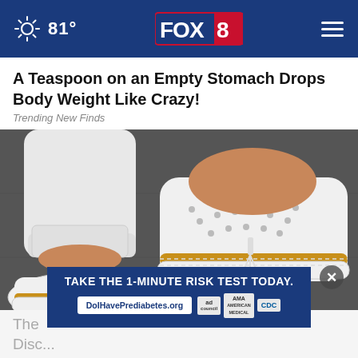81° FOX 8
A Teaspoon on an Empty Stomach Drops Body Weight Like Crazy!
Trending New Finds
[Figure (photo): Close-up photo of a person wearing white jeans and white slip-on shoes with decorative perforations and a tan/brown trim sole, standing on a dark pavement surface.]
TAKE THE 1-MINUTE RISK TEST TODAY. DolHavePrediabetes.org
The
Disc...